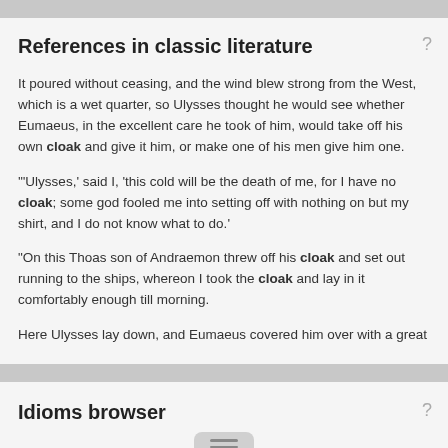References in classic literature
It poured without ceasing, and the wind blew strong from the West, which is a wet quarter, so Ulysses thought he would see whether Eumaeus, in the excellent care he took of him, would take off his own cloak and give it him, or make one of his men give him one.
'"Ulysses,' said I, 'this cold will be the death of me, for I have no cloak; some god fooled me into setting off with nothing on but my shirt, and I do not know what to do.'
"On this Thoas son of Andraemon threw off his cloak and set out running to the ships, whereon I took the cloak and lay in it comfortably enough till morning.
Here Ulysses lay down, and Eumaeus covered him over with a great
Idioms browser